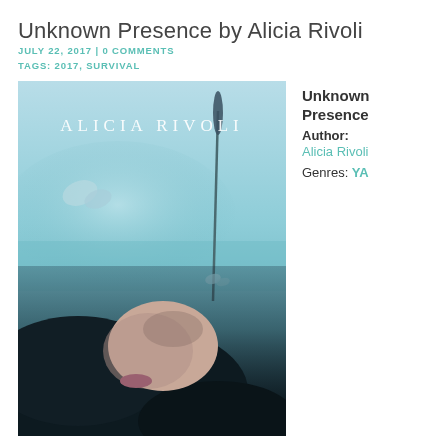Unknown Presence by Alicia Rivoli
JULY 22, 2017 | 0 COMMENTS
TAGS: 2017, SURVIVAL
[Figure (photo): Book cover of 'Unknown Presence' by Alicia Rivoli. Shows a young woman lying in a field looking upward, with dark hair spread out, a blurred blue-teal background, a tall grass stalk, and a butterfly. Author name 'ALICIA RIVOLI' printed at top in white lettering.]
Unknown Presence
Author:
Alicia Rivoli
Genres: YA